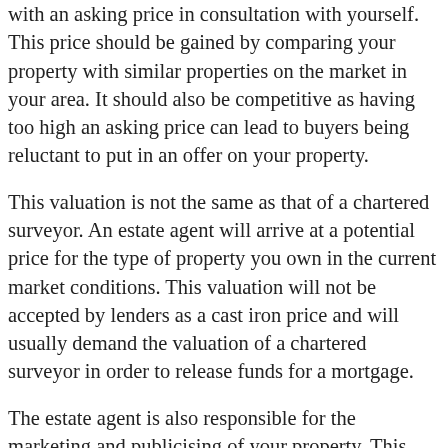with an asking price in consultation with yourself. This price should be gained by comparing your property with similar properties on the market in your area. It should also be competitive as having too high an asking price can lead to buyers being reluctant to put in an offer on your property.
This valuation is not the same as that of a chartered surveyor. An estate agent will arrive at a potential price for the type of property you own in the current market conditions. This valuation will not be accepted by lenders as a cast iron price and will usually demand the valuation of a chartered surveyor in order to release funds for a mortgage.
The estate agent is also responsible for the marketing and publicising of your property. This includes the photography of your home and the literature that accompanies the advert. The usual methods of publicising a property are window